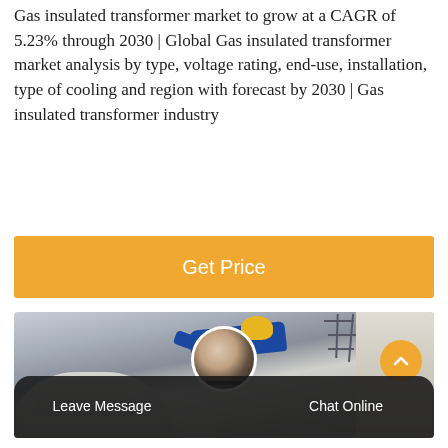Gas insulated transformer market to grow at a CAGR of 5.23% through 2030 | Global Gas insulated transformer market analysis by type, voltage rating, end-use, installation, type of cooling and region with forecast by 2030 | Gas insulated transformer industry
[Figure (other): Orange rounded-rectangle button labeled 'Get Price' on white background]
[Figure (photo): Photo of a worker in blue coveralls and yellow hard hat working on industrial transformer/electrical equipment with scaffolding and white/gray structures visible]
[Figure (other): Bottom navigation bar with 'Leave Message' on left, chat avatar in center, 'Chat Online' on right, dark rounded background]